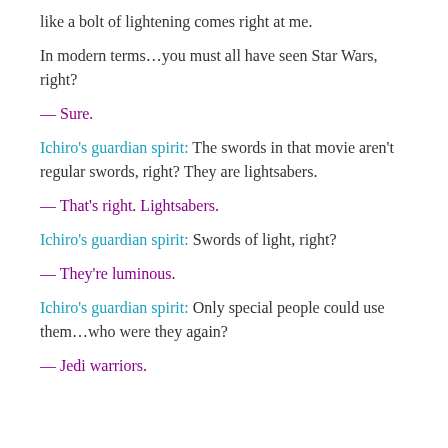like a bolt of lightening comes right at me.
In modern terms…you must all have seen Star Wars, right?
— Sure.
Ichiro's guardian spirit: The swords in that movie aren't regular swords, right? They are lightsabers.
— That's right. Lightsabers.
Ichiro's guardian spirit: Swords of light, right?
— They're luminous.
Ichiro's guardian spirit: Only special people could use them…who were they again?
— Jedi warriors.